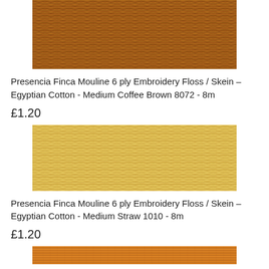[Figure (photo): Close-up photo of brown embroidery floss/thread skein, medium coffee brown color]
Presencia Finca Mouline 6 ply Embroidery Floss / Skein - Egyptian Cotton - Medium Coffee Brown 8072 - 8m
£1.20
[Figure (photo): Close-up photo of straw/pale yellow embroidery floss/thread skein, medium straw color]
Presencia Finca Mouline 6 ply Embroidery Floss / Skein - Egyptian Cotton - Medium Straw 1010 - 8m
£1.20
[Figure (photo): Partial view of another embroidery floss skein at bottom of page, orange/golden color]